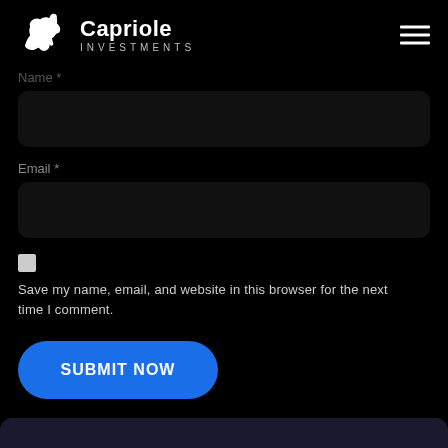[Figure (logo): Capriole Investments logo with white horse jumping silhouette and text 'Capriole INVESTMENTS']
Name *
Email *
Save my name, email, and website in this browser for the next time I comment.
SUBMIT NOW